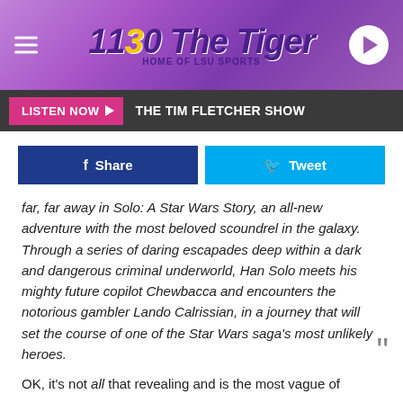[Figure (logo): 1130 The Tiger – Home of LSU Sports radio station header with hamburger menu and play button]
THE TIM FLETCHER SHOW
Share   Tweet
far, far away in Solo: A Star Wars Story, an all-new adventure with the most beloved scoundrel in the galaxy. Through a series of daring escapades deep within a dark and dangerous criminal underworld, Han Solo meets his mighty future copilot Chewbacca and encounters the notorious gambler Lando Calrissian, in a journey that will set the course of one of the Star Wars saga's most unlikely heroes.
OK, it's not all that revealing and is the most vague of